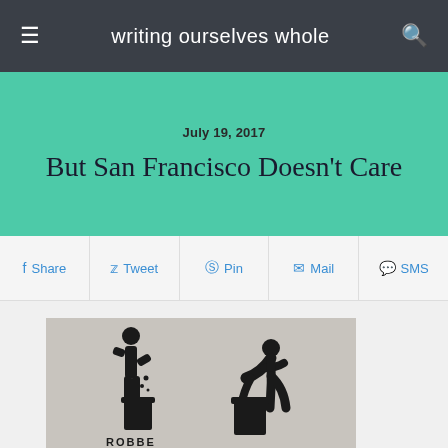writing ourselves whole
July 19, 2017
But San Francisco Doesn't Care
Share | Tweet | Pin | Mail | SMS
[Figure (photo): Street stencil showing two figures with a trash can: one putting trash in and another digging trash out, with text partially visible at the bottom.]